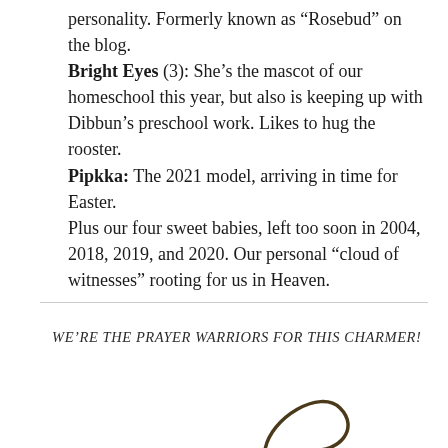personality. Formerly known as "Rosebud" on the blog.
Bright Eyes (3): She's the mascot of our homeschool this year, but also is keeping up with Dibbun's preschool work. Likes to hug the rooster.
Pipkka: The 2021 model, arriving in time for Easter.
Plus our four sweet babies, left too soon in 2004, 2018, 2019, and 2020. Our personal "cloud of witnesses" rooting for us in Heaven.
WE'RE THE PRAYER WARRIORS FOR THIS CHARMER!
[Figure (illustration): Partial view of a cursive signature or handwritten text, showing a curved dark line on white background, bottom right of page]